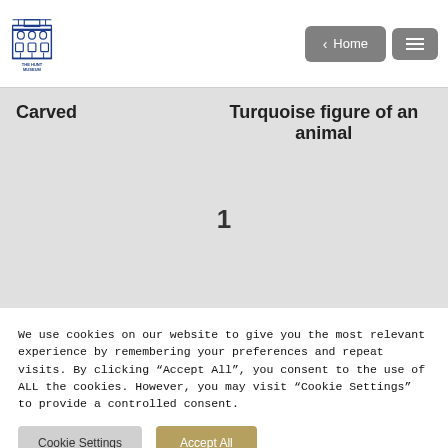[Figure (logo): The Hunt Museum logo — a blue line-art illustration of a building facade with arched windows, with 'THE HUNT MUSEUM' text below in blue]
Carved
Turquoise figure of an animal
1
We use cookies on our website to give you the most relevant experience by remembering your preferences and repeat visits. By clicking "Accept All", you consent to the use of ALL the cookies. However, you may visit "Cookie Settings" to provide a controlled consent.
Cookie Settings
Accept All